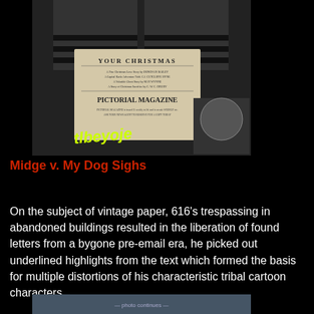[Figure (photo): Street art photo showing two figures in black and white striped clothing with a vintage 'Your Christmas Pictorial Magazine' advertisement pasted on the wall, with yellow graffiti tags and other street art elements]
Midge v. My Dog Sighs
On the subject of vintage paper, 616's trespassing in abandoned buildings resulted in the liberation of found letters from a bygone pre-email era, he picked out underlined highlights from the text which formed the basis for multiple distortions of his characteristic tribal cartoon characters.
[Figure (photo): Partial view of another street art photograph at the bottom of the page, partially cut off]